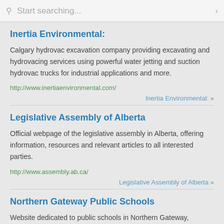Start searching...
Inertia Environmental:
Calgary hydrovac excavation company providing excavating and hydrovacing services using powerful water jetting and suction hydrovac trucks for industrial applications and more.
http://www.inertiaenvironmental.com/
Inertia Environmental: »
Legislative Assembly of Alberta
Official webpage of the legislative assembly in Alberta, offering information, resources and relevant articles to all interested parties.
http://www.assembly.ab.ca/
Legislative Assembly of Alberta »
Northern Gateway Public Schools
Website dedicated to public schools in Northern Gateway,